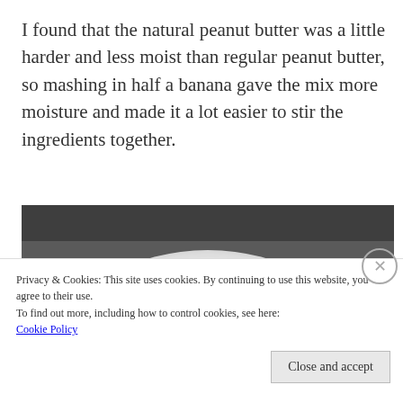I found that the natural peanut butter was a little harder and less moist than regular peanut butter, so mashing in half a banana gave the mix more moisture and made it a lot easier to stir the ingredients together.
[Figure (photo): A white plate on a dark textured surface with three oat/peanut butter energy balls/cookies on it.]
Privacy & Cookies: This site uses cookies. By continuing to use this website, you agree to their use.
To find out more, including how to control cookies, see here:
Cookie Policy
Close and accept